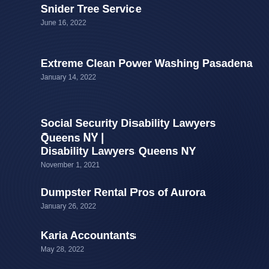Snider Tree Service
June 16, 2022
Extreme Clean Power Washing Pasadena
January 14, 2022
Social Security Disability Lawyers Queens NY | Disability Lawyers Queens NY
November 1, 2021
Dumpster Rental Pros of Aurora
January 26, 2022
Karia Accountants
May 28, 2022